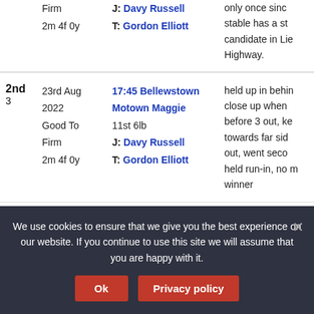| Position | Date/Ground/Distance | Race/Horse/Weight/J/T | Comment |
| --- | --- | --- | --- |
|  | Firm
2m 4f 0y | J: Davy Russell
T: Gordon Elliott | only once sinc... stable has a st... candidate in Lie... Highway. |
| 2nd
3 | 23rd Aug 2022
Good To Firm
2m 4f 0y | 17:45 Bellewstown
Motown Maggie
11st 6lb
J: Davy Russell
T: Gordon Elliott | held up in behin... close up when... before 3 out, ke... towards far sid... out, went seco... held run-in, no m... winner |
We use cookies to ensure that we give you the best experience on our website. If you continue to use this site we will assume that you are happy with it.